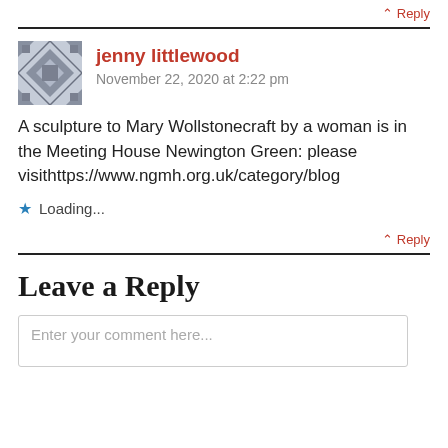↑ Reply
[Figure (illustration): Geometric quilt-pattern avatar icon in grey/blue tones for user jenny littlewood]
jenny littlewood
November 22, 2020 at 2:22 pm
A sculpture to Mary Wollstonecraft by a woman is in the Meeting House Newington Green: please visithttps://www.ngmh.org.uk/category/blog
★ Loading...
↑ Reply
Leave a Reply
Enter your comment here...